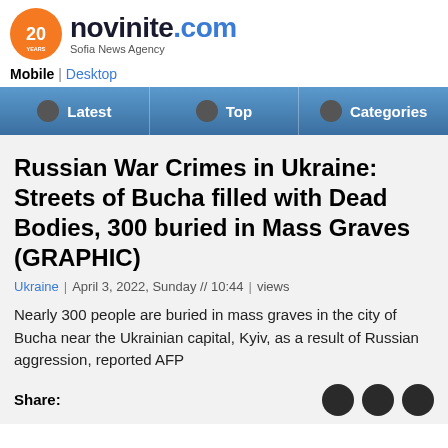novinite.com — Sofia News Agency
Mobile | Desktop
Latest | Top | Categories
Russian War Crimes in Ukraine: Streets of Bucha filled with Dead Bodies, 300 buried in Mass Graves (GRAPHIC)
Ukraine | April 3, 2022, Sunday // 10:44 | views
Nearly 300 people are buried in mass graves in the city of Bucha near the Ukrainian capital, Kyiv, as a result of Russian aggression, reported AFP
Share: